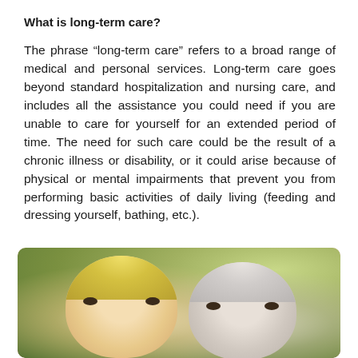What is long-term care?
The phrase “long-term care” refers to a broad range of medical and personal services. Long-term care goes beyond standard hospitalization and nursing care, and includes all the assistance you could need if you are unable to care for yourself for an extended period of time. The need for such care could be the result of a chronic illness or disability, or it could arise because of physical or mental impairments that prevent you from performing basic activities of daily living (feeding and dressing yourself, bathing, etc.).
[Figure (photo): Two women (one younger with blonde hair, one older with grey hair) smiling together cheek to cheek outdoors with a blurred green background.]